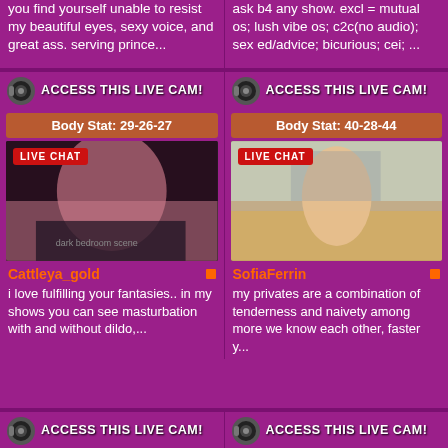you find yourself unable to resist my beautiful eyes, sexy voice, and great ass. serving prince...
ask b4 any show. excl = mutual os; lush vibe os; c2c(no audio); sex ed/advice; bicurious; cei; ...
[Figure (other): ACCESS THIS LIVE CAM! button with webcam icon]
[Figure (other): ACCESS THIS LIVE CAM! button with webcam icon]
Body Stat: 29-26-27
Body Stat: 40-28-44
[Figure (photo): Live chat photo of Cattleya_gold]
[Figure (photo): Live chat photo of SofiaFerrin]
Cattleya_gold
SofiaFerrin
i love fulfilling your fantasies.. in my shows you can see masturbation with and without dildo,...
my privates are a combination of tenderness and naivety among more we know each other, faster y...
[Figure (other): ACCESS THIS LIVE CAM! button with webcam icon]
[Figure (other): ACCESS THIS LIVE CAM! button with webcam icon]